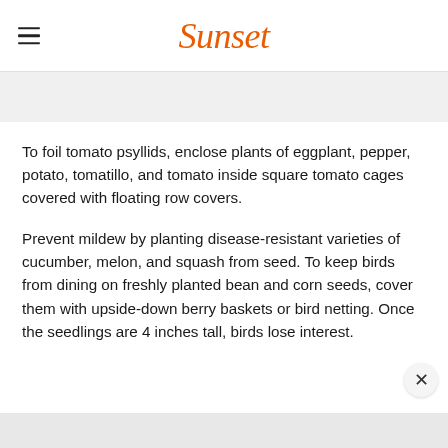Sunset
To foil tomato psyllids, enclose plants of eggplant, pepper, potato, tomatillo, and tomato inside square tomato cages covered with floating row covers.
Prevent mildew by planting disease-resistant varieties of cucumber, melon, and squash from seed. To keep birds from dining on freshly planted bean and corn seeds, cover them with upside-down berry baskets or bird netting. Once the seedlings are 4 inches tall, birds lose interest.